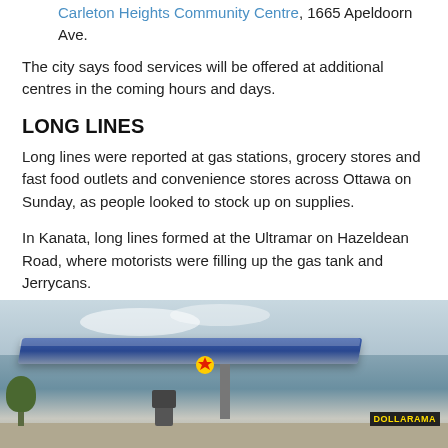Carleton Heights Community Centre, 1665 Apeldoorn Ave.
The city says food services will be offered at additional centres in the coming hours and days.
LONG LINES
Long lines were reported at gas stations, grocery stores and fast food outlets and convenience stores across Ottawa on Sunday, as people looked to stock up on supplies.
In Kanata, long lines formed at the Ultramar on Hazeldean Road, where motorists were filling up the gas tank and Jerrycans.
[Figure (photo): Exterior photo of a gas station with a large blue canopy, shot from a low angle against a cloudy sky. A Dollarama sign is visible in the background on the right.]